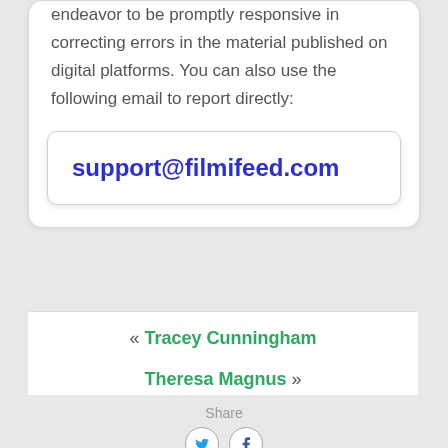endeavor to be promptly responsive in correcting errors in the material published on digital platforms. You can also use the following email to report directly:
support@filmifeed.com
« Tracey Cunningham
Theresa Magnus »
Share